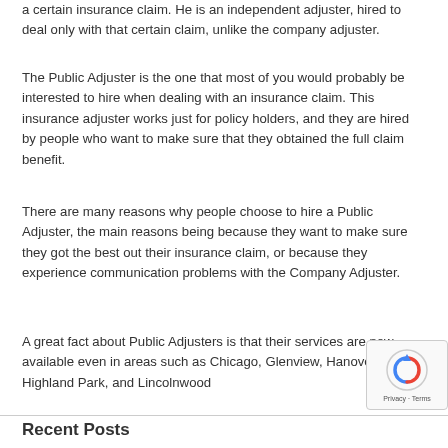a certain insurance claim. He is an independent adjuster, hired to deal only with that certain claim, unlike the company adjuster.
The Public Adjuster is the one that most of you would probably be interested to hire when dealing with an insurance claim. This insurance adjuster works just for policy holders, and they are hired by people who want to make sure that they obtained the full claim benefit.
There are many reasons why people choose to hire a Public Adjuster, the main reasons being because they want to make sure they got the best out their insurance claim, or because they experience communication problems with the Company Adjuster.
A great fact about Public Adjusters is that their services are now available even in areas such as Chicago, Glenview, Hanover Park, Highland Park, and Lincolnwood
Recent Posts